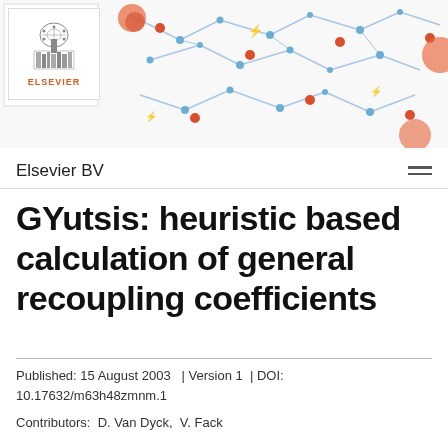[Figure (illustration): Elsevier banner header with colorful science/AI network icons in red and blue on white background, with Elsevier logo box at top left]
Elsevier BV
GYutsis: heuristic based calculation of general recoupling coefficients
Published: 15 August 2003  | Version 1  | DOI: 10.17632/m63h48zmnm.1
Contributors:  D. Van Dyck,  V. Fack